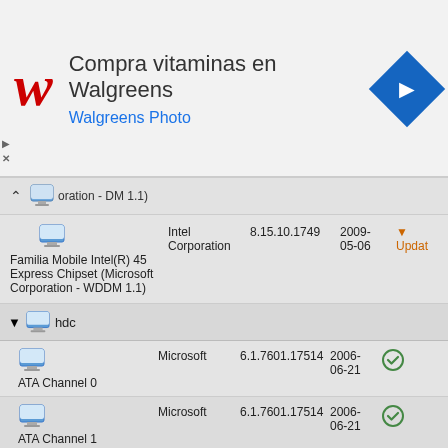[Figure (screenshot): Walgreens advertisement banner with logo, text 'Compra vitaminas en Walgreens' and 'Walgreens Photo', and navigation arrow icon]
oration - DM 1.1)
[Figure (screenshot): Windows Device Manager screenshot showing driver entries: Familia Mobile Intel(R) 45 Express Chipset (Microsoft Corporation - WDDM 1.1) by Intel Corporation version 8.15.10.1749 dated 2009-05-06 with Update status; hdc section with ATA Channel 0 and 1 entries by Microsoft version 6.1.7601.17514 dated 2006-06-21 with OK status]
| Device | Manufacturer | Version | Date | Status |
| --- | --- | --- | --- | --- |
| Familia Mobile Intel(R) 45 Express Chipset (Microsoft Corporation - WDDM 1.1) | Intel Corporation | 8.15.10.1749 | 2009-05-06 | Update |
| ATA Channel 0 | Microsoft | 6.1.7601.17514 | 2006-06-21 | OK |
| ATA Channel 1 | Microsoft | 6.1.7601.17514 | 2006-06-21 | OK |
| ATA Channel 0 | Microsoft | 6.1.7601.17514 | 2006-06-21 | OK |